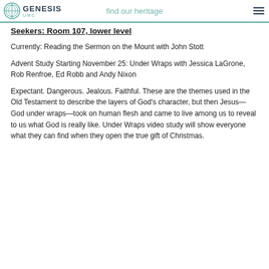Genesis UMC — find our heritage
Seekers: Room 107, lower level
Currently: Reading the Sermon on the Mount with John Stott
Advent Study Starting November 25: Under Wraps with Jessica LaGrone, Rob Renfroe, Ed Robb and Andy Nixon
Expectant. Dangerous. Jealous. Faithful. These are the themes used in the Old Testament to describe the layers of God's character, but then Jesus—God under wraps—took on human flesh and came to live among us to reveal to us what God is really like. Under Wraps video study will show everyone what they can find when they open the true gift of Christmas.